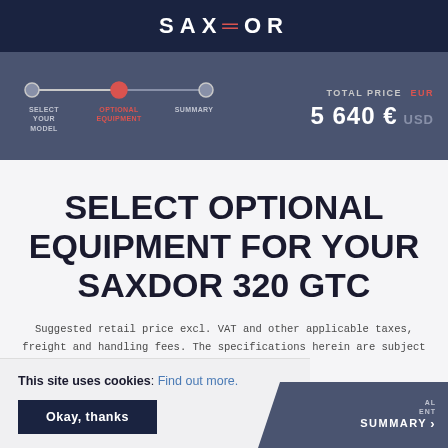SAXDOR
[Figure (infographic): Progress bar with three steps: SELECT YOUR MODEL, OPTIONAL EQUIPMENT (active/highlighted in red), SUMMARY. Second step dot is filled red, first and third are grey. Total price shown as 5 640 EUR with USD option.]
SELECT OPTIONAL EQUIPMENT FOR YOUR SAXDOR 320 GTC
Suggested retail price excl. VAT and other applicable taxes, freight and handling fees. The specifications herein are subject to change without notice.
This site uses cookies: Find out more.
Okay, thanks
OPTIONAL EQUIPMENT   SUMMARY >   GE